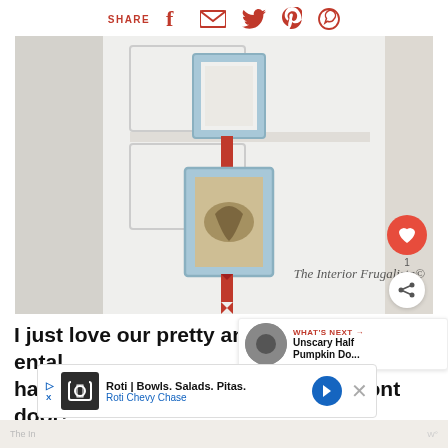SHARE [social icons: Facebook, Email, Twitter, Pinterest, WhatsApp]
[Figure (photo): Interior front door with two light blue picture frames connected by red ribbon hanging vertically. A decorative burlap-backed frame with a patriotic motif is visible. Red ribbon bookmark-style bow beneath lower frame. Watermark reads 'The Interior Frugalista©'.]
I just love our pretty and very sentimental hanger for the interior side of our front door!
[Figure (other): Advertisement banner: Roti | Bowls. Salads. Pitas. Roti Chevy Chase with navigation arrow icon and close button.]